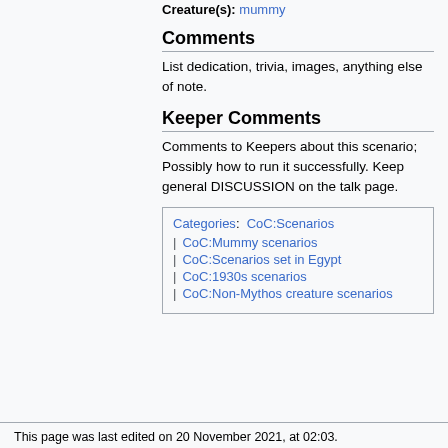Creature(s): mummy
Comments
List dedication, trivia, images, anything else of note.
Keeper Comments
Comments to Keepers about this scenario; Possibly how to run it successfully. Keep general DISCUSSION on the talk page.
Categories: CoC:Scenarios | CoC:Mummy scenarios | CoC:Scenarios set in Egypt | CoC:1930s scenarios | CoC:Non-Mythos creature scenarios
This page was last edited on 20 November 2021, at 02:03.